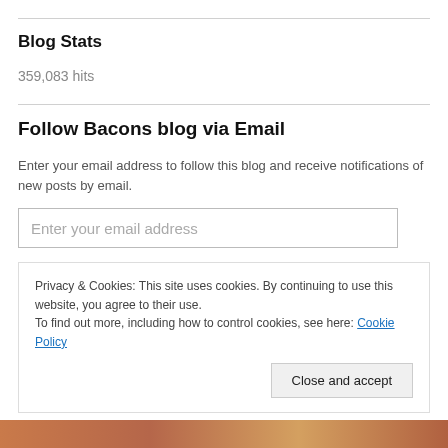Blog Stats
359,083 hits
Follow Bacons blog via Email
Enter your email address to follow this blog and receive notifications of new posts by email.
Enter your email address
Privacy & Cookies: This site uses cookies. By continuing to use this website, you agree to their use.
To find out more, including how to control cookies, see here: Cookie Policy
Close and accept
[Figure (photo): Bottom portion showing a colorful food photo (bacon) partially visible at the bottom of the page.]